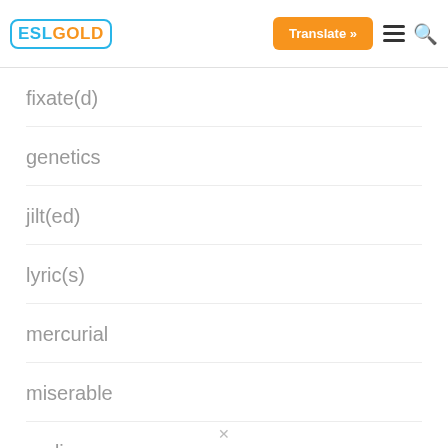ESL GOLD | Translate »
fixate(d)
genetics
jilt(ed)
lyric(s)
mercurial
miserable
nadir